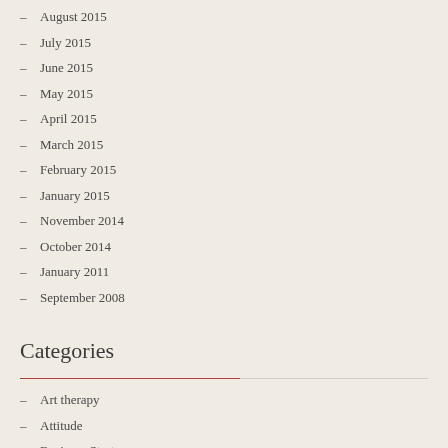August 2015
July 2015
June 2015
May 2015
April 2015
March 2015
February 2015
January 2015
November 2014
October 2014
January 2011
September 2008
Categories
Art therapy
Attitude
Business Strategy
Child Nutrition